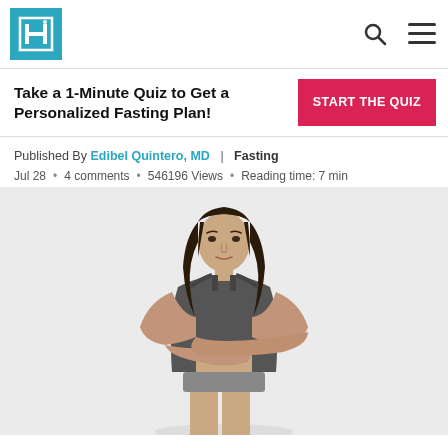HealthReporter logo and navigation
Take a 1-Minute Quiz to Get a Personalized Fasting Plan! START THE QUIZ
Published By Edibel Quintero, MD | Fasting
Jul 28 • 4 comments • 546196 Views • Reading time: 7 min
[Figure (photo): Woman in sports bra with arms crossed, standing against light grey background]